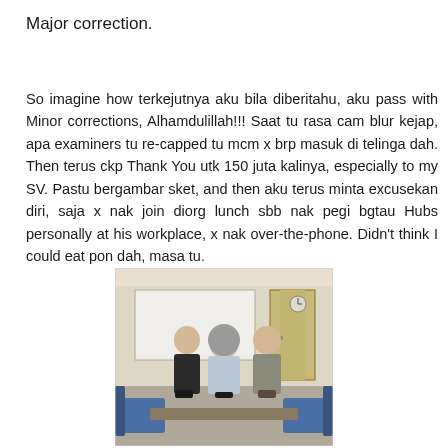Major correction.
So imagine how terkejutnya aku bila diberitahu, aku pass with Minor corrections, Alhamdulillah!!! Saat tu rasa cam blur kejap, apa examiners tu re-capped tu mcm x brp masuk di telinga dah. Then terus ckp Thank You utk 150 juta kalinya, especially to my SV. Pastu bergambar sket, and then aku terus minta excusekan diri, saja x nak join diorg lunch sbb nak pegi bgtau Hubs personally at his workplace, x nak over-the-phone. Didn't think I could eat pon dah, masa tu.
[Figure (photo): Three people standing together in a room with a whiteboard behind them. A woman wearing a hijab stands in the center, flanked by two men. Blue chairs are visible in the foreground.]